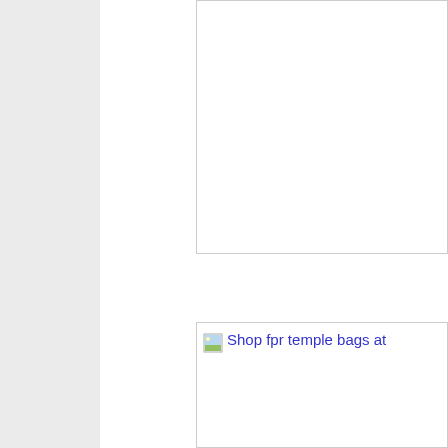[Figure (screenshot): A webpage screenshot showing a left gray sidebar and white main content area. There is a top white bordered box (partially visible, cropped) and below it a broken image placeholder with a small landscape icon followed by blue link text reading 'Shop fpr temple bags at']